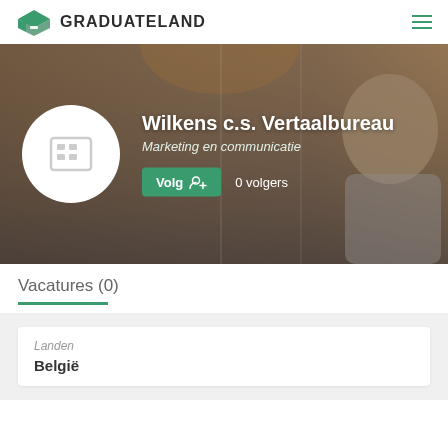[Figure (logo): GraduateLand logo with green graduation cap icon and bold text GRADUATELAND]
[Figure (photo): Company profile banner with blurred office/cafe background and a smiling blonde woman with a laptop on the right side. Contains company logo circle, company name, sector, follow button and follower count.]
Vacatures (0)
Landen
België